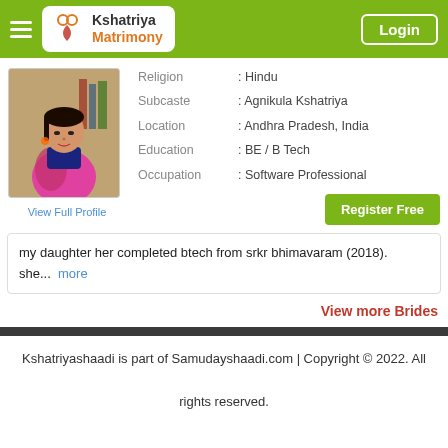Kshatriya Matrimony — Login
[Figure (photo): Profile photo of a young woman in a pink saree]
View Full Profile
| Field | Value |
| --- | --- |
| Religion | : Hindu |
| Subcaste | : Agnikula Kshatriya |
| Location | : Andhra Pradesh, India |
| Education | : BE / B Tech |
| Occupation | : Software Professional |
Register Free
my daughter her completed btech from srkr bhimavaram (2018). she... more
View more Brides
Kshatriyashaadi is part of Samudayshaadi.com | Copyright © 2022. All rights reserved.